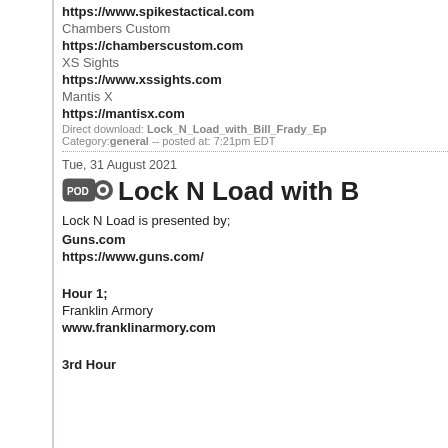https://www.spikestactical.com
Chambers Custom
https://chamberscustom.com
XS Sights
https://www.xssights.com
Mantis X
https://mantisx.com
Direct download: Lock_N_Load_with_Bill_Frady_Ep... Category: general -- posted at: 7:21pm EDT
Tue, 31 August 2021
Lock N Load with B
Lock N Load is presented by;
Guns.com
https://www.guns.com/
Hour 1;
Franklin Armory
www.franklinarmory.com
3rd Hour